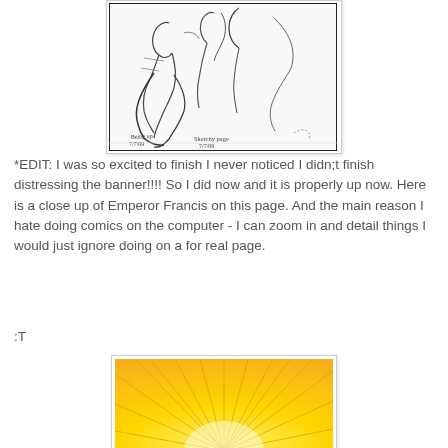[Figure (illustration): Pencil sketch drawing showing figures, appears to be anime/comic style characters, with a handwritten note at the bottom that reads 'Sketchy page 7/7/09' or similar]
*EDIT: I was so excited to finish I never noticed I didn;t finish distressing the banner!!!! So I did now and it is properly up now. Here is a close up of Emperor Francis on this page. And the main reason I hate doing comics on the computer - I can zoom in and detail things I would just ignore doing on a for real page.
:T
[Figure (illustration): A bright yellow/gold starburst or sun rays image with golden yellow color radiating from a central point, shown partially at bottom of page]